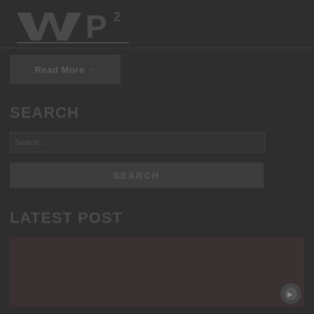[Figure (logo): WP logo mark with stylized W and P letters]
[Figure (screenshot): Read More button, dark background]
SEARCH
Search...
SEARCH
LATEST POST
[Figure (photo): Dark thumbnail image for latest post with small icon]